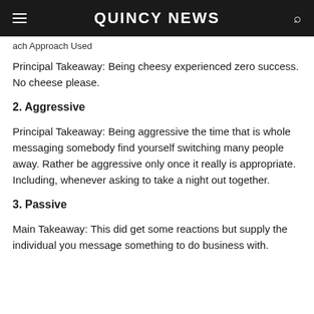QUINCY NEWS
ach Approach Used
Principal Takeaway: Being cheesy experienced zero success. No cheese please.
2. Aggressive
Principal Takeaway: Being aggressive the time that is whole messaging somebody find yourself switching many people away. Rather be aggressive only once it really is appropriate. Including, whenever asking to take a night out together.
3. Passive
Main Takeaway: This did get some reactions but supply the individual you message something to do business with.